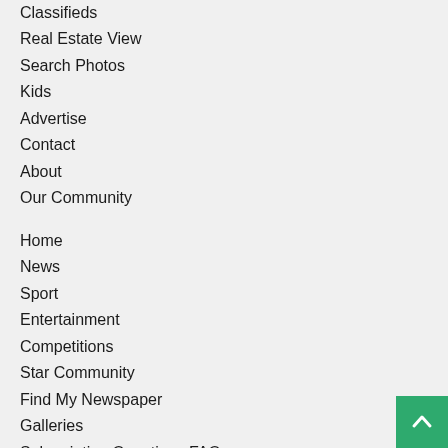Classifieds
Real Estate View
Search Photos
Kids
Advertise
Contact
About
Our Community
Home
News
Sport
Entertainment
Competitions
Star Community
Find My Newspaper
Galleries
Subscription Questions FAQ
South East Star Real Estate
South East New Homes & Land
Real Estate View
Education